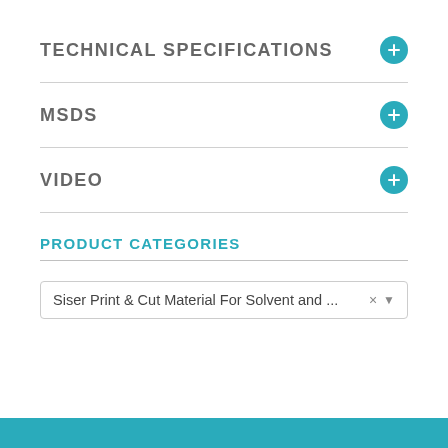TECHNICAL SPECIFICATIONS
MSDS
VIDEO
PRODUCT CATEGORIES
Siser Print & Cut Material For Solvent and ... × ▼